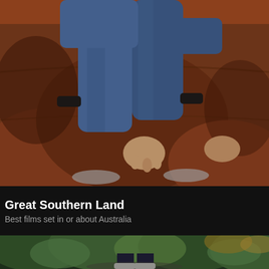[Figure (photo): A person sitting on a brown leather couch wearing blue jeans and a blue hoodie, with bare feet, photographed from the torso down. The image is slightly blurred/soft focus.]
Great Southern Land
Best films set in or about Australia
[Figure (photo): A partial view of a person standing on a path surrounded by green foliage and trees, photographed from above showing only legs and feet.]